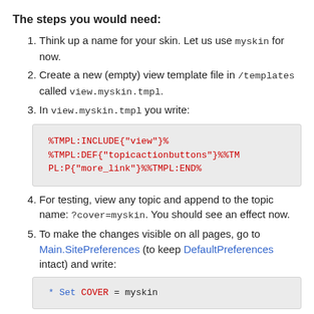The steps you would need:
Think up a name for your skin. Let us use myskin for now.
Create a new (empty) view template file in /templates called view.myskin.tmpl.
In view.myskin.tmpl you write:
%TMPL:INCLUDE{"view"}%
%TMPL:DEF{"topicactionbuttons"}%%TMPL:P{"more_link"}%%TMPL:END%
For testing, view any topic and append to the topic name: ?cover=myskin. You should see an effect now.
To make the changes visible on all pages, go to Main.SitePreferences (to keep DefaultPreferences intact) and write:
* Set COVER = myskin